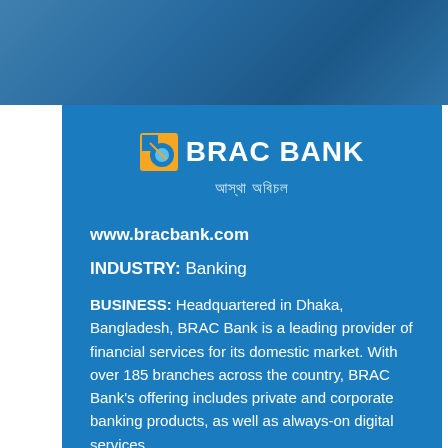[Figure (photo): Background photo with blue sky and water scenery, used as page header image]
[Figure (logo): BRAC Bank logo with icon and text 'BRAC BANK' and Bengali tagline]
www.bracbank.com
INDUSTRY: Banking
BUSINESS: Headquartered in Dhaka, Bangladesh, BRAC Bank is a leading provider of financial services for its domestic market. With over 185 branches across the country, BRAC Bank's offering includes private and corporate banking products, as well as always-on digital services.